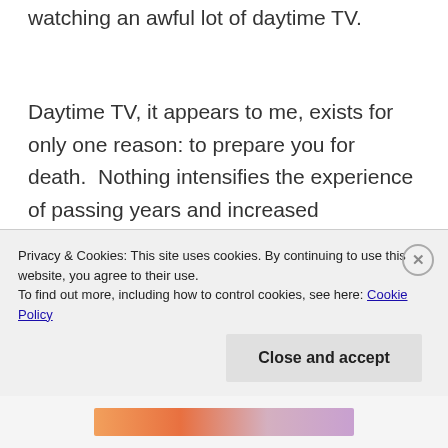watching an awful lot of daytime TV.
Daytime TV, it appears to me, exists for only one reason: to prepare you for death.  Nothing intensifies the experience of passing years and increased decrepitude like a couple of hours spent in front of some half-remembered detective yarn from the 1960's, a 1970's sitcom in which the 'isms are so often displayed that it makes your brain hurt
Privacy & Cookies: This site uses cookies. By continuing to use this website, you agree to their use.
To find out more, including how to control cookies, see here: Cookie Policy
Close and accept